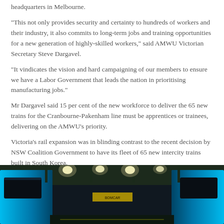headquarters in Melbourne.
“This not only provides security and certainty to hundreds of workers and their industry, it also commits to long-term jobs and training opportunities for a new generation of highly-skilled workers,” said AMWU Victorian Secretary Steve Dargavel.
“It vindicates the vision and hard campaigning of our members to ensure we have a Labor Government that leads the nation in prioritising manufacturing jobs.”
Mr Dargavel said 15 per cent of the new workforce to deliver the 65 new trains for the Cranbourne-Pakenham line must be apprentices or trainees, delivering on the AMWU’s priority.
Victoria’s rail expansion was in blinding contrast to the recent decision by NSW Coalition Government to have its fleet of 65 new intercity trains built in South Korea.
[Figure (photo): Interior of a train manufacturing facility showing blue trains on either side of a factory floor with overhead lights illuminating the space.]